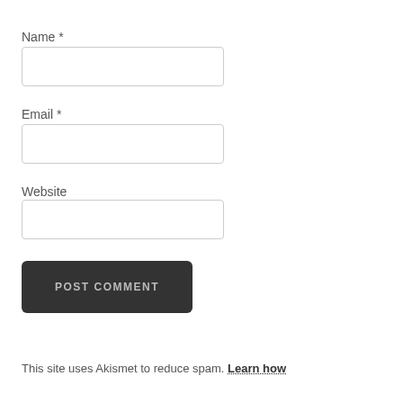Name *
[Figure (other): Name input text field, empty, with border]
Email *
[Figure (other): Email input text field, empty, with border]
Website
[Figure (other): Website input text field, empty, with border]
[Figure (other): POST COMMENT button, dark background, light text]
This site uses Akismet to reduce spam. Learn how